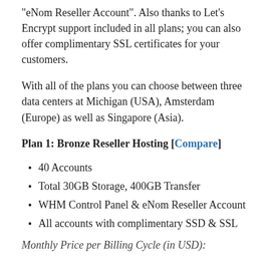“eNom Reseller Account”. Also thanks to Let’s Encrypt support included in all plans; you can also offer complimentary SSL certificates for your customers.
With all of the plans you can choose between three data centers at Michigan (USA), Amsterdam (Europe) as well as Singapore (Asia).
Plan 1: Bronze Reseller Hosting [Compare]
40 Accounts
Total 30GB Storage, 400GB Transfer
WHM Control Panel & eNom Reseller Account
All accounts with complimentary SSD & SSL
Monthly Price per Billing Cycle (in USD):